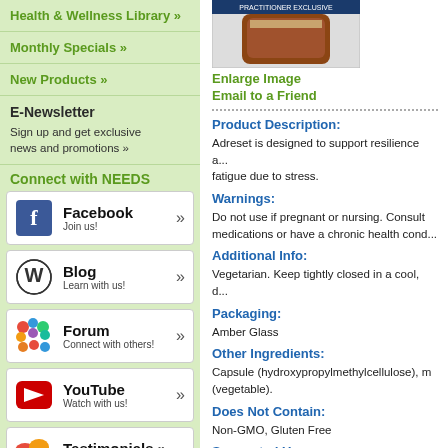Health & Wellness Library »
Monthly Specials »
New Products »
E-Newsletter
Sign up and get exclusive news and promotions »
Connect with NEEDS
[Figure (screenshot): Facebook social media button with 'f' icon, text 'Facebook', subtitle 'Join us!' and double chevron arrow]
[Figure (screenshot): WordPress Blog button with WordPress logo, text 'Blog', subtitle 'Learn with us!' and double chevron arrow]
[Figure (screenshot): Forum button with colorful people/chat icons, text 'Forum', subtitle 'Connect with others!' and double chevron arrow]
[Figure (screenshot): YouTube button with red play button icon, text 'YouTube', subtitle 'Watch with us!' and double chevron arrow]
[Figure (screenshot): Testimonials button with colorful speech bubble icons, text 'Testimonials »', subtitle 'See what others say!']
Listen and Learn
[Figure (photo): Product bottle image with 'Practitioner Exclusive' label]
Enlarge Image
Email to a Friend
Product Description:
Adreset is designed to support resilience and fatigue due to stress.
Warnings:
Do not use if pregnant or nursing. Consult medications or have a chronic health cond...
Additional Info:
Vegetarian. Keep tightly closed in a cool, d...
Packaging:
Amber Glass
Other Ingredients:
Capsule (hydroxypropylmethylcellulose), m... (vegetable).
Does Not Contain:
Non-GMO, Gluten Free
Suggested Use: